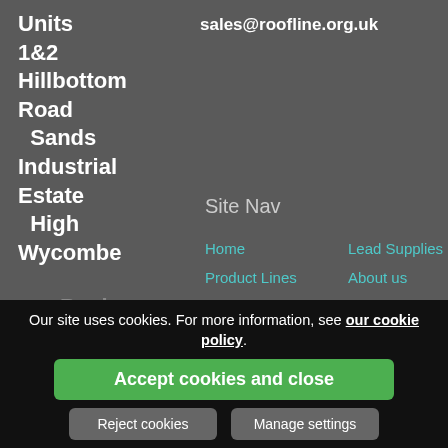Units 1&2 Hillbottom Road Sands Industrial Estate High Wycombe Bucks 4HJ
sales@roofline.org.uk
Site Nav
Home
Product Lines
EDPM Classic
Bond
Velux Windows
Lead Supplies
About us
Contact us
Our site uses cookies. For more information, see our cookie policy.
Accept cookies and close
Reject cookies
Manage settings